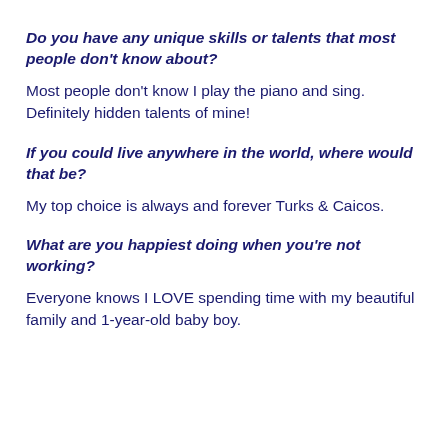Do you have any unique skills or talents that most people don’t know about?
Most people don’t know I play the piano and sing. Definitely hidden talents of mine!
If you could live anywhere in the world, where would that be?
My top choice is always and forever Turks & Caicos.
What are you happiest doing when you’re not working?
Everyone knows I LOVE spending time with my beautiful family and 1-year-old baby boy.